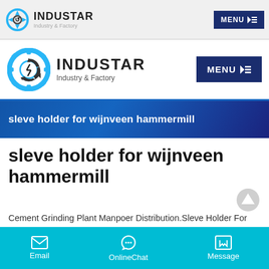INDUSTAR Industry & Factory — MENU
[Figure (logo): INDUSTAR Industry & Factory logo with gear icon and MENU button]
sleve holder for wijnveen hammermill
sleve holder for wijnveen hammermill
Cement Grinding Plant Manpoer Distribution.Sleve Holder For Wijnveen HammermillMvruhammermilljet filtersleve holder for wijnveen hammer mill.Casehammer millspecifiions this.Model 72 verticalhammer mill.Fatshammer mill9fs26 ing. Get price and
Email  OnlineChat  Message